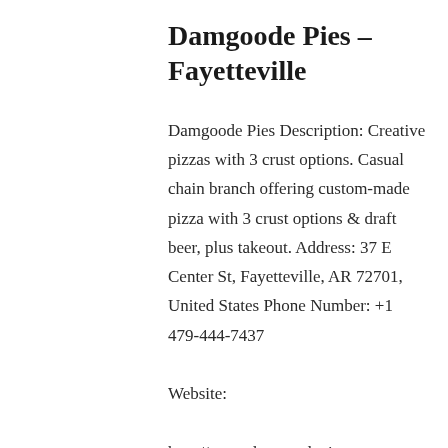Damgoode Pies – Fayetteville
Damgoode Pies Description: Creative pizzas with 3 crust options. Casual chain branch offering custom-made pizza with 3 crust options & draft beer, plus takeout. Address: 37 E Center St, Fayetteville, AR 72701, United States Phone Number: +1 479-444-7437 Website: http://www.damgoodepies.com